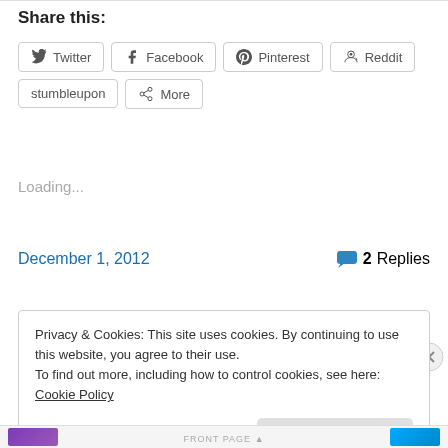Share this:
Twitter
Facebook
Pinterest
Reddit
stumbleupon
More
Loading...
December 1, 2012
2 Replies
Privacy & Cookies: This site uses cookies. By continuing to use this website, you agree to their use. To find out more, including how to control cookies, see here: Cookie Policy
Close and accept